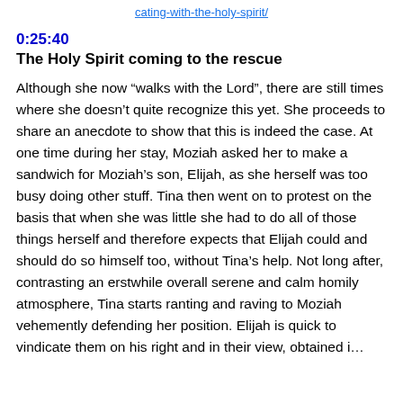cating-with-the-holy-spirit/
0:25:40
The Holy Spirit coming to the rescue
Although she now “walks with the Lord”, there are still times where she doesn’t quite recognize this yet. She proceeds to share an anecdote to show that this is indeed the case. At one time during her stay, Moziah asked her to make a sandwich for Moziah’s son, Elijah, as she herself was too busy doing other stuff. Tina then went on to protest on the basis that when she was little she had to do all of those things herself and therefore expects that Elijah could and should do so himself too, without Tina’s help. Not long after, contrasting an erstwhile overall serene and calm homily atmosphere, Tina starts ranting and raving to Moziah vehemently defending her position. Elijah is quick to vindicate them on his right and in their view, obtained i...